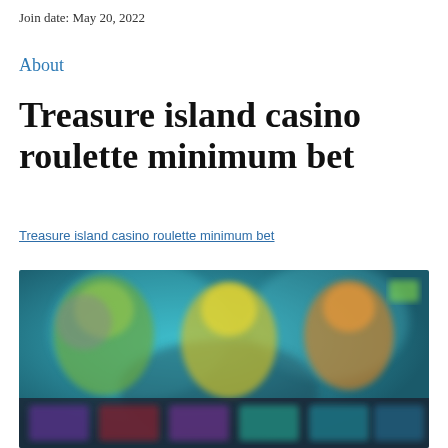Join date: May 20, 2022
About
Treasure island casino roulette minimum bet
Treasure island casino roulette minimum bet
[Figure (screenshot): Blurred screenshot of a casino game interface showing colorful animated characters and game thumbnails on a dark teal/blue background]